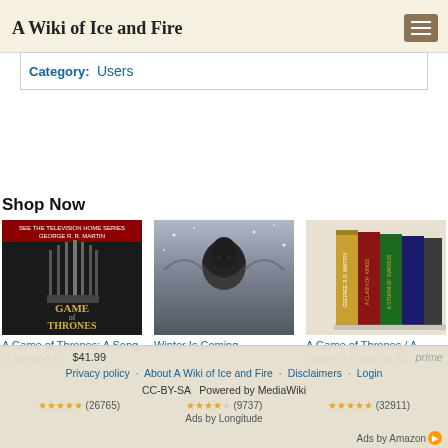A Wiki of Ice and Fire
So perhaps info from the reading can be added, yes, but — — Rhaenys Targaryen 21:59, 28 July 2014 (UTC)
Category: Users
Shop Now
[Figure (photo): Game of Thrones book/product cover - dark iron throne imagery with title 'A Game of Thrones']
A Game of Thrones: A Song of Ice and Fi...
[Figure (photo): Winter Is Coming - dark moody photo of a person in snow/winter scene]
Winter Is Coming
[Figure (photo): A Game of Thrones book box set - multiple colorful book spines]
A Game of Thrones / A Clash of Kings / A St...
Privacy policy · About A Wiki of Ice and Fire · Disclaimers · Login CC-BY-SA Powered by MediaWiki Ads by Longitude $41.99 ★★★★★ (26765) $2.99 ★★★★☆ (9737) $28.33 ★★★★★ (32911) Ads by Amazon